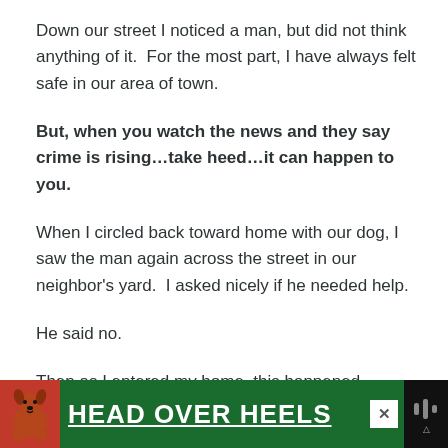Down our street I noticed a man, but did not think anything of it.  For the most part, I have always felt safe in our area of town.
But, when you watch the news and they say crime is rising…take heed…it can happen to you.
When I circled back toward home with our dog, I saw the man again across the street in our neighbor's yard.  I asked nicely if he needed help.
He said no.
Then as I entered my home, this happened.
[Figure (advertisement): Green advertisement banner for 'Head Over Heels' featuring a dog image on the left, large white bold underlined text 'HEAD OVER HEELS' in center, close button (X) and a dark logo on the right.]